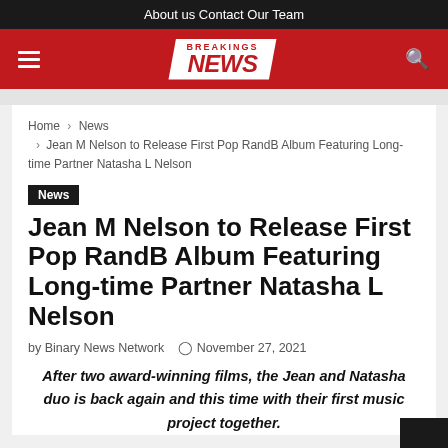About us  Contact  Our Team
[Figure (logo): Breakings News logo in white box on red header bar with hamburger menu and search icon]
Home > News > Jean M Nelson to Release First Pop RandB Album Featuring Long-time Partner Natasha L Nelson
News
Jean M Nelson to Release First Pop RandB Album Featuring Long-time Partner Natasha L Nelson
by Binary News Network  November 27, 2021
After two award-winning films, the Jean and Natasha duo is back again and this time with their first music project together.